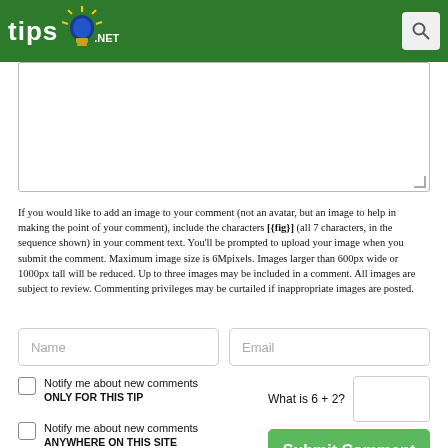[Figure (logo): Tips.Net logo with lightbulb graphic on green header bar, with search button top right]
If you would like to add an image to your comment (not an avatar, but an image to help in making the point of your comment), include the characters [{fig}] (all 7 characters, in the sequence shown) in your comment text. You'll be prompted to upload your image when you submit the comment. Maximum image size is 6Mpixels. Images larger than 600px wide or 1000px tall will be reduced. Up to three images may be included in a comment. All images are subject to review. Commenting privileges may be curtailed if inappropriate images are posted.
Name
Email
Notify me about new comments ONLY FOR THIS TIP
Notify me about new comments ANYWHERE ON THIS SITE
What is 6 + 2?
Submit Comment